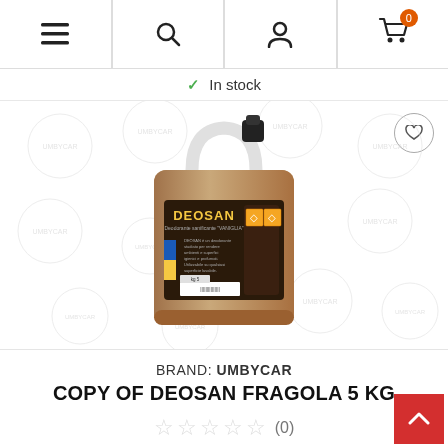Navigation bar with menu, search, account, and cart (0 items) icons
✓ In stock
[Figure (photo): A 5 kg plastic jerrycan of DEOSAN sanitizing deodorant product with a dark label showing the DEOSAN brand name and hazard symbols. The container is brown/amber colored with a handle and black cap. Background shows repeated watermark circles.]
BRAND: UMBYCAR
COPY OF DEOSAN FRAGOLA 5 KG
☆☆☆☆☆ (0)